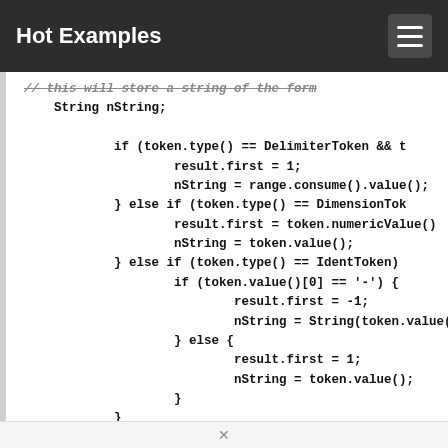Hot Examples
// this will store a string of the form
    String nString;

            if (token.type() == DelimiterToken && t
                    result.first = 1;
                    nString = range.consume().value();
            } else if (token.type() == DimensionTok
                    result.first = token.numericValue()
                    nString = token.value();
            } else if (token.type() == IdentToken)
                    if (token.value()[0] == '-') {
                            result.first = -1;
                            nString = String(token.value())
                    } else {
                            result.first = 1;
                            nString = token.value();
                    }
            }